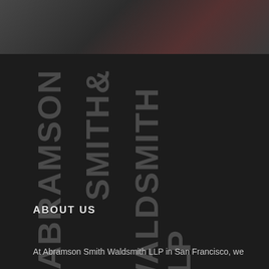[Figure (photo): Dark photographic strip at top of page, showing a blurred office/desk scene in dark tones with reddish accents]
ABRAMSON SMITH WALDSMITH LLP
ABOUT US
At Abramson Smith Waldsmith LLP in San Francisco, we